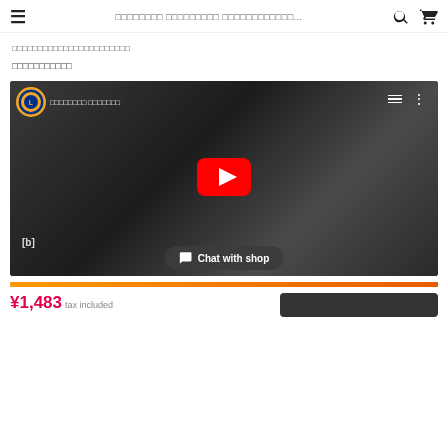☰  □□□□□□□□□□□□ □□□□□□□□□□□□ □□□□□□□□□□□□□... 🔍 🛒
□□□□□□□□□□□□□□□□□□□□□□□
□□□□□□□□□□□
[Figure (screenshot): YouTube video player embedded in a product page. Shows a black-and-white scene with two people, Lions Club International logo in top-left, play button overlay in center, 'Chat with shop' pill button overlaid at bottom.]
[b]
¥1,483 tax included